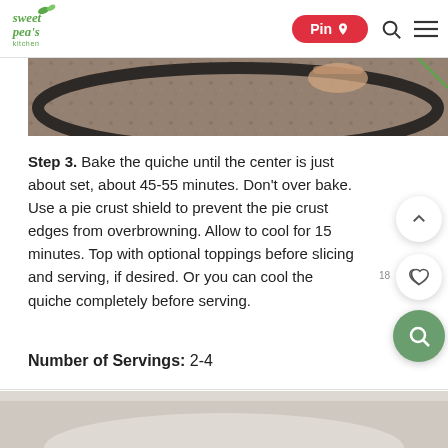Sweet Peas Kitchen — Pin, Search, Menu
[Figure (photo): Photo of hands working with a pie crust on a granite countertop, showing a dark-rimmed pie pan.]
Step 3. Bake the quiche until the center is just about set, about 45-55 minutes. Don't over bake. Use a pie crust shield to prevent the pie crust edges from overbrowning. Allow to cool for 15 minutes. Top with optional toppings before slicing and serving, if desired. Or you can cool the quiche completely before serving.
Number of Servings: 2-4
[Figure (photo): Bottom partial photo, light-colored background suggesting a food image beginning.]